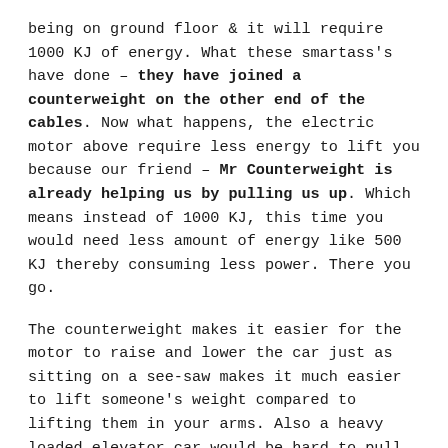being on ground floor & it will require 1000 KJ of energy. What these smartass's have done – they have joined a counterweight on the other end of the cables. Now what happens, the electric motor above require less energy to lift you because our friend – Mr Counterweight is already helping us by pulling us up. Which means instead of 1000 KJ, this time you would need less amount of energy like 500 KJ thereby consuming less power. There you go.
The counterweight makes it easier for the motor to raise and lower the car just as sitting on a see-saw makes it much easier to lift someone's weight compared to lifting them in your arms. Also a heavy loaded elevator car would be hard to pull up but will race down to the ground while coming down. All thanks to